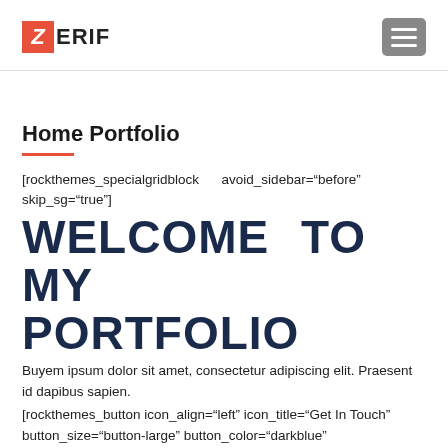ZERIF [hamburger menu icon]
Home Portfolio
[rockthemes_specialgridblock     avoid_sidebar="before" skip_sg="true"]
WELCOME TO MY PORTFOLIO
Buyem ipsum dolor sit amet, consectetur adipiscing elit. Praesent id dapibus sapien.
[rockthemes_button icon_align="left" icon_title="Get In Touch" button_size="button-large" button_color="darkblue" button_shadow="yes" button_shape="button-rounded" extra_class="" button_link_target="inline" button_align="right" link_url="#contact_field" link_id="false"